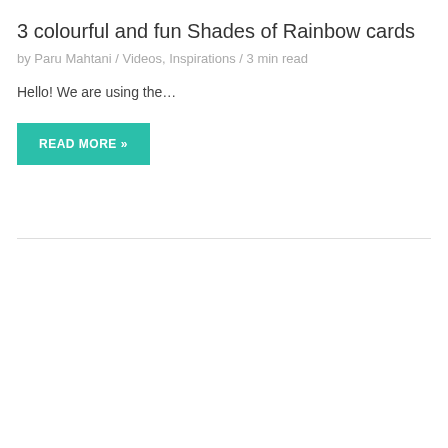3 colourful and fun Shades of Rainbow cards
by Paru Mahtani / Videos, Inspirations / 3 min read
Hello! We are using the…
READ MORE »